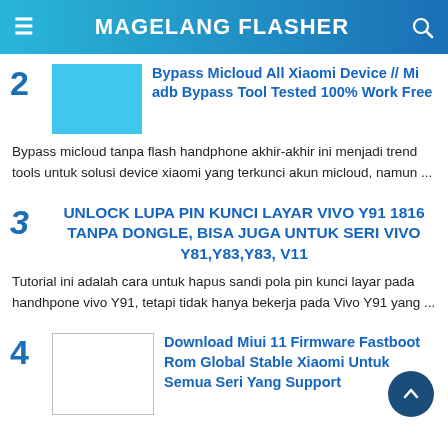MAGELANG FLASHER
Bypass Micloud All Xiaomi Device // Mi adb Bypass Tool Tested 100% Work Free
Bypass micloud tanpa flash handphone akhir-akhir ini menjadi trend tools untuk solusi device xiaomi yang terkunci akun micloud, namun ...
UNLOCK LUPA PIN KUNCI LAYAR VIVO Y91 1816 TANPA DONGLE, BISA JUGA UNTUK SERI VIVO Y81,Y83,Y83, V11
Tutorial ini adalah cara untuk hapus sandi pola pin kunci layar pada handhpone vivo Y91, tetapi tidak hanya bekerja pada Vivo Y91 yang ...
Download Miui 11 Firmware Fastboot Rom Global Stable Xiaomi Untuk Semua Seri Yang Support